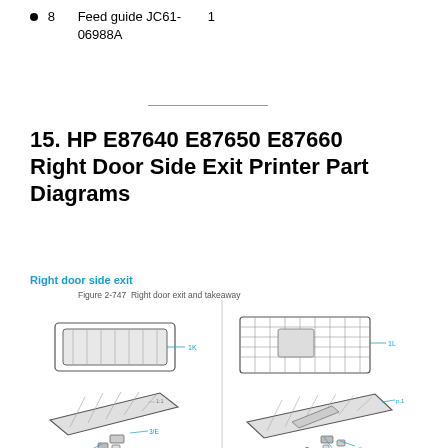8    Feed guide JC61-06988A    1
15. HP E87640 E87650 E87660 Right Door Side Exit Printer Part Diagrams
Right door side exit
Figure 2-747  Right door exit and takeaway
[Figure (engineering-diagram): Technical exploded-view diagrams of the HP E87640/E87650/E87660 right door side exit printer parts, showing four views of the assembly with numbered callouts indicating individual components including rollers, guides, and small fasteners.]